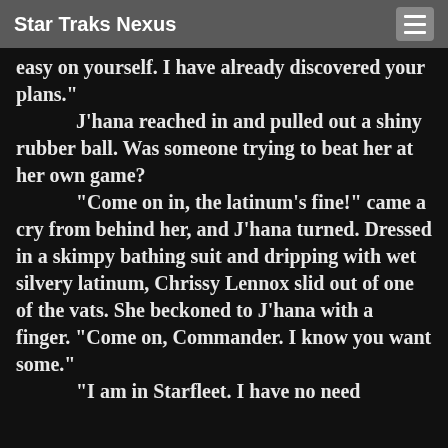Star Traks Nexus
easy on yourself. I have already discovered your plans."
	J'hana reached in and pulled out a shiny rubber ball. Was someone trying to beat her at her own game?
	"Come on in, the latinum's fine!" came a cry from behind her, and J'hana turned. Dressed in a skimpy bathing suit and dripping with wet silvery latinum, Chrissy Lennox slid out of one of the vats. She beckoned to J'hana with a finger. "Come on, Commander. I know you want some."
	"I am in Starfleet. I have no need